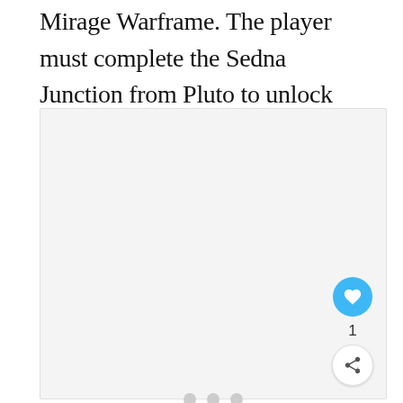Mirage Warframe. The player must complete the Sedna Junction from Pluto to unlock this quest.
[Figure (other): A light gray placeholder image box with three small gray dots centered horizontally near the bottom, indicating a loading or empty image state. A blue heart/like button (FAB) is in the lower-right corner with a count of 1 and a share button below it.]